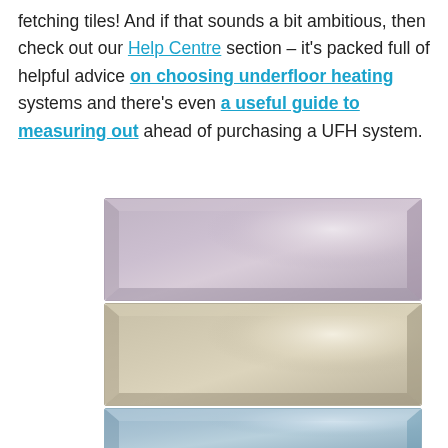fetching tiles! And if that sounds a bit ambitious, then check out our Help Centre section – it's packed full of helpful advice on choosing underfloor heating systems and there's even a useful guide to measuring out ahead of purchasing a UFH system.
[Figure (photo): Three ceramic wall tiles shown stacked vertically: top tile is lavender/mauve color with glossy beveled surface, middle tile is cream/beige color with glossy beveled surface, bottom tile is light blue color (partially visible).]